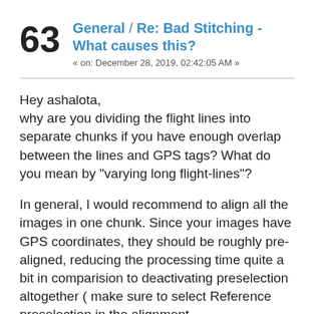63 General / Re: Bad Stitching - What causes this? « on: December 28, 2019, 02:42:05 AM »
Hey ashalota,
why are you dividing the flight lines into separate chunks if you have enough overlap between the lines and GPS tags? What do you mean by "varying long flight-lines"?
In general, I would recommend to align all the images in one chunk. Since your images have GPS coordinates, they should be roughly pre-aligned, reducing the processing time quite a bit in comparision to deactivating preselection altogether ( make sure to select Reference preselection in the alignment